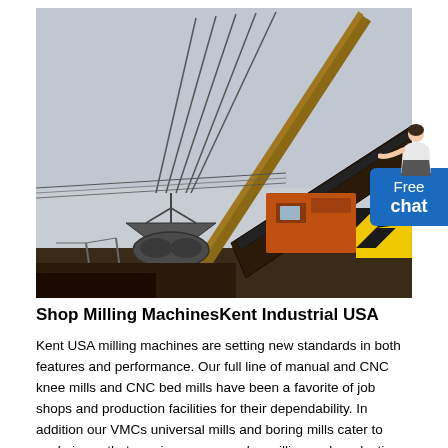[Figure (photo): Industrial crane with grab bucket at a construction or industrial facility, with a conveyor belt structure and orange machinery visible. Overcast sky in background.]
Shop Milling MachinesKent Industrial USA
Kent USA milling machines are setting new standards in both features and performance. Our full line of manual and CNC knee mills and CNC bed mills have been a favorite of job shops and production facilities for their dependability. In addition our VMCs universal mills and boring mills cater to workpieces that require more complex milling and production